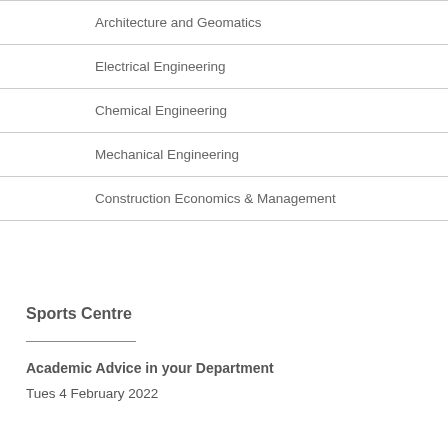Architecture and Geomatics
Electrical Engineering
Chemical Engineering
Mechanical Engineering
Construction Economics & Management
Sports Centre
Academic Advice in your Department
Tues 4 February 2022